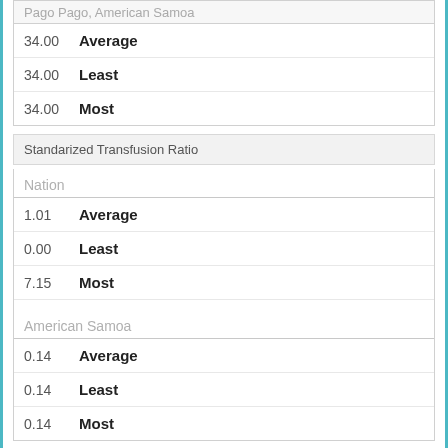Pago Pago, American Samoa
| Value | Stat |
| --- | --- |
| 34.00 | Average |
| 34.00 | Least |
| 34.00 | Most |
Standarized Transfusion Ratio
Nation
| Value | Stat |
| --- | --- |
| 1.01 | Average |
| 0.00 | Least |
| 7.15 | Most |
American Samoa
| Value | Stat |
| --- | --- |
| 0.14 | Average |
| 0.14 | Least |
| 0.14 | Most |
Pago Pago, American Samoa